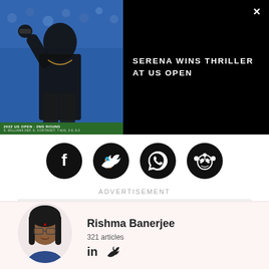[Figure (screenshot): Video thumbnail showing Serena Williams at 2022 US Open 2nd Round with score bar overlay, next to black panel with video title 'SERENA WINS THRILLER AT US OPEN' and close X button]
[Figure (infographic): Row of four black circular social media share icons: Facebook, Twitter, WhatsApp, Reddit]
ADVERTISEMENT
[Figure (other): Advertisement placeholder box (light gray)]
[Figure (photo): Headshot photo of Rishma Banerjee, a woman with glasses and long dark hair]
Rishma Banerjee
321 articles
LinkedIn and Twitter social icons